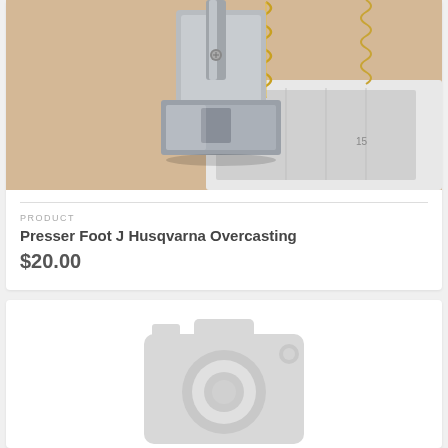[Figure (photo): Close-up photo of a Husqvarna sewing machine presser foot (overcasting foot J) on beige/tan fabric with yellow overcasting stitches along the edge. The presser foot is metallic/chrome colored and attached to the sewing machine.]
PRODUCT
Presser Foot J Husqvarna Overcasting
$20.00
[Figure (photo): Placeholder image with a light gray camera icon on white background, indicating no product image is available.]